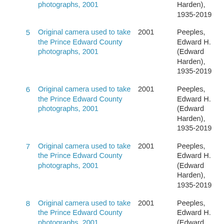|  | Title | Date | Creator |
| --- | --- | --- | --- |
|  | photographs, 2001 | 2001 | Harden), 1935-2019 |
| 5 | Original camera used to take the Prince Edward County photographs, 2001 | 2001 | Peeples, Edward H. (Edward Harden), 1935-2019 |
| 6 | Original camera used to take the Prince Edward County photographs, 2001 | 2001 | Peeples, Edward H. (Edward Harden), 1935-2019 |
| 7 | Original camera used to take the Prince Edward County photographs, 2001 | 2001 | Peeples, Edward H. (Edward Harden), 1935-2019 |
| 8 | Original camera used to take the Prince Edward County photographs, 2001 | 2001 | Peeples, Edward H. (Edward Harden), 1935-2019 |